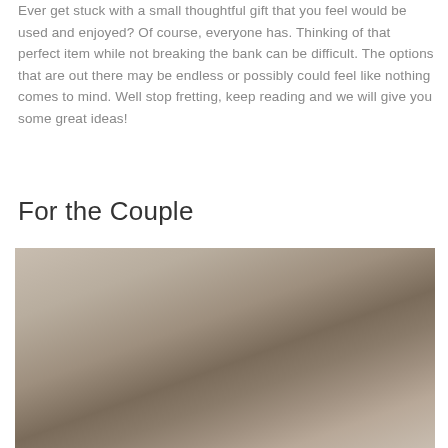Ever get stuck with a small thoughtful gift that you feel would be used and enjoyed? Of course, everyone has. Thinking of that perfect item while not breaking the bank can be difficult. The options that are out there may be endless or possibly could feel like nothing comes to mind. Well stop fretting, keep reading and we will give you some great ideas!
For the Couple
[Figure (photo): A blurred photograph showing soft warm beige and brown tones, likely a couples-related lifestyle image.]